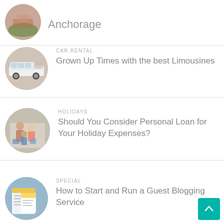Anchorage
CAR RENTAL
Grown Up Times with the best Limousines
HOLIDAYS
Should You Consider Personal Loan for Your Holiday Expenses?
SPECIAL
How to Start and Run a Guest Blogging Service